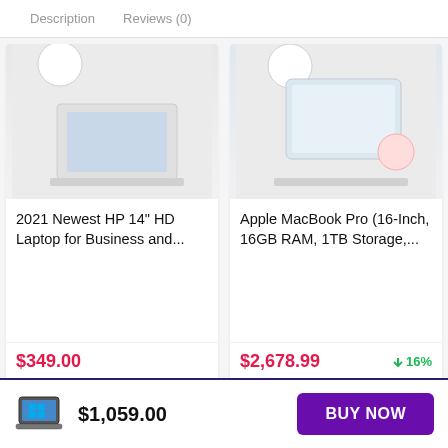Description   Reviews (0)
[Figure (screenshot): Product image for 2021 Newest HP 14 inch HD Laptop (partially visible, cropped at top)]
2021 Newest HP 14" HD Laptop for Business and...
$349.00
[Figure (screenshot): Product image for Apple MacBook Pro 16-Inch (partially visible, cropped at top)]
Apple MacBook Pro (16-Inch, 16GB RAM, 1TB Storage,...
$2,678.99
↓16%
[Figure (photo): Laptop icon in the bottom sticky bar]
$1,059.00
BUY NOW